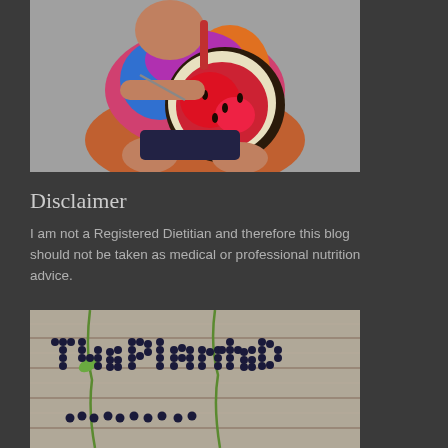[Figure (photo): A child in a colorful tie-dye shirt eating a round slice of watermelon, sitting on a gray surface.]
Disclaimer
I am not a Registered Dietitian and therefore this blog should not be taken as medical or professional nutrition advice.
[Figure (photo): Blueberries arranged on a wooden plank surface to spell out 'The Planted' with more text below partially visible.]